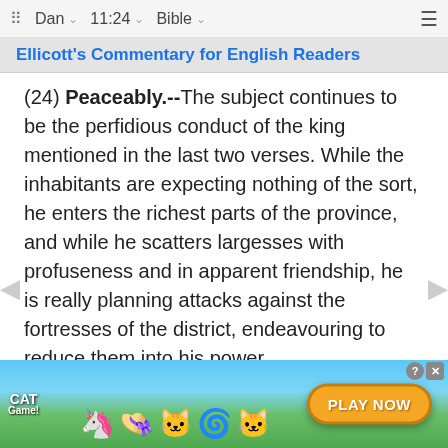Dan  11:24  Bible
Ellicott's Commentary for English Readers
(24) Peaceably.--The subject continues to be the perfidious conduct of the king mentioned in the last two verses. While the inhabitants are expecting nothing of the sort, he enters the richest parts of the province, and while he scatters largesses with profuseness and in apparent friendship, he is really planning attacks against the fortresses of the district, endeavouring to reduce them into his power.
This has been referred to the conduct of Antiochus Epiphanes, mentioned in 1 Maccabees 3:27-30, after the defeat of the Syrian army by Judas Maccabaeus. According to another interpretation, the m... he accur...
[Figure (other): Cat Game advertisement banner with cartoon cats and 'PLAY NOW' button]